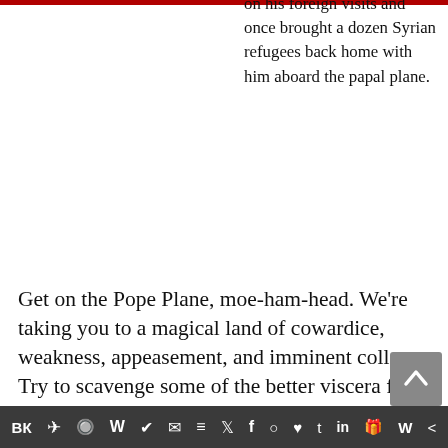on his foreign visits and once brought a dozen Syrian refugees back home with him aboard the papal plane.
Get on the Pope Plane, moe-ham-head. We're taking you to a magical land of cowardice, weakness, appeasement, and imminent collapse. Try to scavenge some of the better viscera from the reeking carcass before it completely rots away.
His appeals for governments to welcome migrants have often fallen on deaf ears in Europe
ВК  ✈  reddit  W  WhatsApp  ✉  layers  twitter  f  instagram  pinterest  t  in  gift  W  <